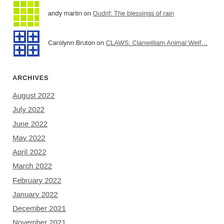andy martin on Oudrif: The blessings of rain
Carolynn Bruton on CLAWS: Clanwilliam Animal Welf...
ARCHIVES
August 2022
July 2022
June 2022
May 2022
April 2022
March 2022
February 2022
January 2022
December 2021
November 2021
October 2021